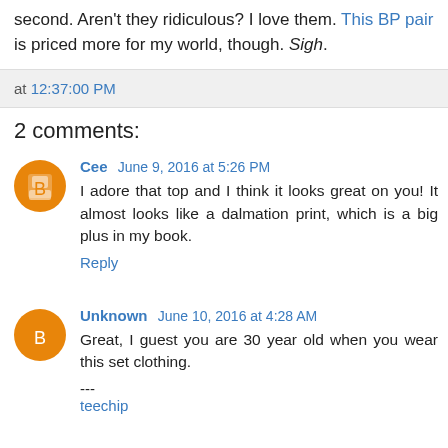second. Aren't they ridiculous? I love them. This BP pair is priced more for my world, though. Sigh.
at 12:37:00 PM
2 comments:
Cee June 9, 2016 at 5:26 PM — I adore that top and I think it looks great on you! It almost looks like a dalmation print, which is a big plus in my book. Reply
Unknown June 10, 2016 at 4:28 AM — Great, I guest you are 30 year old when you wear this set clothing. --- teechip